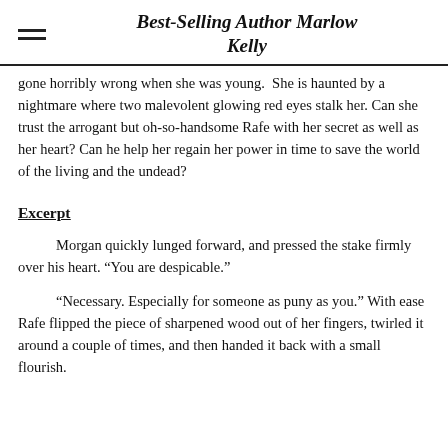Best-Selling Author Marlow Kelly
gone horribly wrong when she was young.  She is haunted by a nightmare where two malevolent glowing red eyes stalk her. Can she trust the arrogant but oh-so-handsome Rafe with her secret as well as her heart? Can he help her regain her power in time to save the world of the living and the undead?
Excerpt
Morgan quickly lunged forward, and pressed the stake firmly over his heart. “You are despicable.”
“Necessary. Especially for someone as puny as you.” With ease Rafe flipped the piece of sharpened wood out of her fingers, twirled it around a couple of times, and then handed it back with a small flourish.